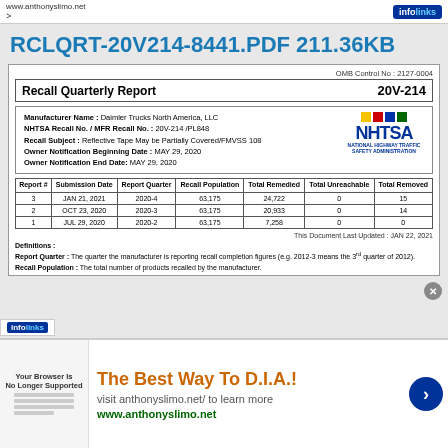www.anthonyslimo.net
RCLQRT-20V214-8441.PDF 211.36KB
OMB Control No : 2127-0004
Recall Quarterly Report   20V-214
Manufacturer Name : Daimler Trucks North America, LLC
NHTSA Recall No. / MFR Recall No. : 20V-214 /PL848
Recall Subject : Reflective Tape May be Partially Covered/FMVSS 108
Owner Notification Beginning Date : MAY 29, 2020
Owner Notification End Date: MAY 29, 2020
| Report # | Submission Date | Report Quarter | Recall Population | Total Remedied | Total Unreachable | Total Removed |
| --- | --- | --- | --- | --- | --- | --- |
| 3 | JAN 21, 2021 | 2020-4 | 63,175 | 24,722 | 0 | 15 |
| 2 | OCT 23, 2020 | 2020-3 | 63,175 | 20,933 | 0 | 14 |
| 1 | JUL 29, 2020 | 2020-2 | 63,175 | 7,258 | 0 | 0 |
This Document Last Updated : JAN 22, 2021
Definitions :
Report Quarter : The quarter the manufacturer is reporting recall completion figures (e.g. 2012-3 means the 3rd quarter of 2012). Recall Population : The total number of products recalled by the manufacturer.